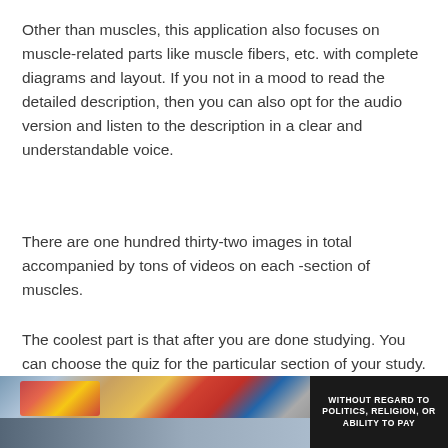Other than muscles, this application also focuses on muscle-related parts like muscle fibers, etc. with complete diagrams and layout. If you not in a mood to read the detailed description, then you can also opt for the audio version and listen to the description in a clear and understandable voice.
There are one hundred thirty-two images in total accompanied by tons of videos on each -section of muscles.
The coolest part is that after you are done studying. You can choose the quiz for the particular section of your study. From over five hundred quiz options and can also create examinations as well.
[Figure (photo): Advertisement banner showing cargo aircraft being loaded, with a dark badge on the right reading 'WITHOUT REGARD TO POLITICS, RELIGION, OR ABILITY TO PAY']